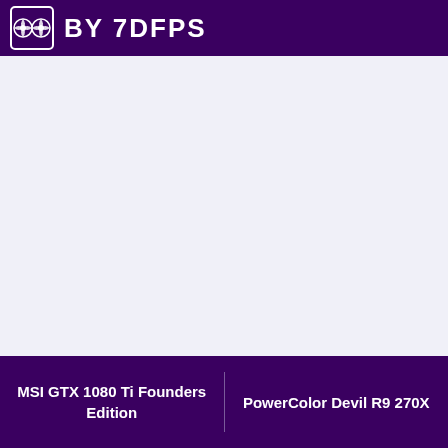BY 7DFPS
MSI GTX 1080 Ti Founders Edition | PowerColor Devil R9 270X